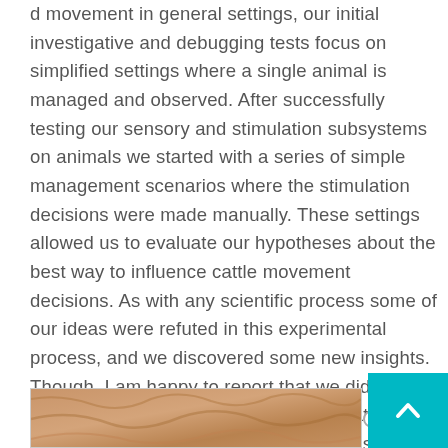d movement in general settings, our initial investigative and debugging tests focus on simplified settings where a single animal is managed and observed. After successfully testing our sensory and stimulation subsystems on animals we started with a series of simple management scenarios where the stimulation decisions were made manually. These settings allowed us to evaluate our hypotheses about the best way to influence cattle movement decisions. As with any scientific process some of our ideas were refuted in this experimental process, and we discovered some new insights. Though, I am happy to report that we did observe repeatable and predictable relationship between our control actions and animal's movement, which will serve as the build block of the ultimate mechanism.
[Figure (photo): Partial view of cattle or animal hide/fur texture at the bottom of the page]